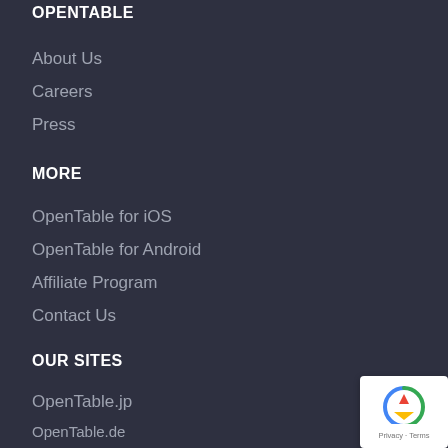OPENTABLE
About Us
Careers
Press
MORE
OpenTable for iOS
OpenTable for Android
Affiliate Program
Contact Us
OUR SITES
OpenTable.jp
OpenTable.de
OpenTable.es
OpenTable.com.mx
OpenTable.ca
OpenTable.hk
[Figure (logo): reCAPTCHA badge with privacy and terms links]